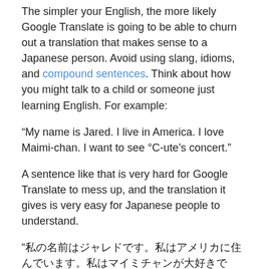The simpler your English, the more likely Google Translate is going to be able to churn out a translation that makes sense to a Japanese person. Avoid using slang, idioms, and compound sentences. Think about how you might talk to a child or someone just learning English. For example:
“My name is Jared. I live in America. I love Maimi-chan. I want to see °C-ute’s concert.”
A sentence like that is very hard for Google Translate to mess up, and the translation it gives is very easy for Japanese people to understand.
“私の名前はジャレドです。私はアメリカに住んでいます。私はマイミチャンが大好きです。°C-uteのコンサートを見たいです。”
Of course, if you don’t speak Japanese, you won’t know if the translation it gave you is good or not. In that case, you can…